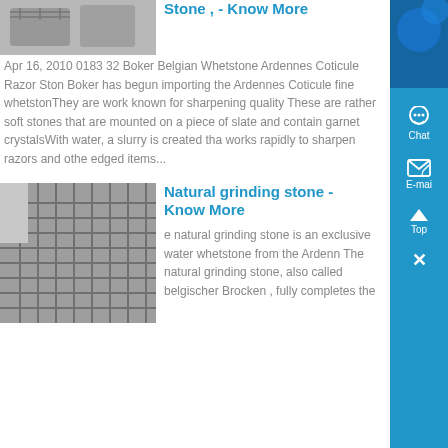Stone , - Know More
Apr 16, 2010 0183 32 Boker Belgian Whetstone Ardennes Coticule Razor Stone Boker has begun importing the Ardennes Coticule fine whetstonThey are work known for sharpening quality These are rather soft stones that are mounted on a piece of slate and contain garnet crystalsWith water, a slurry is created that works rapidly to sharpen razors and other edged items...
[Figure (photo): Photo of industrial tanks with railings]
Natural grinding stone - Know More
[Figure (photo): Photo of a metal reinforcement grid / rebar mesh on a flat surface]
e natural grinding stone is an exclusive water whetstone from the Ardenn The natural grinding stone, also called belgischer Brocken , fully completes the ...